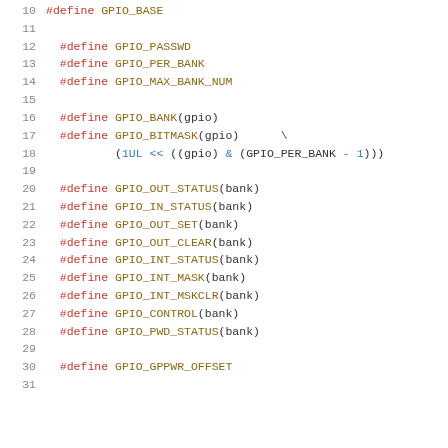[Figure (screenshot): C source code snippet showing preprocessor #define macros for GPIO (General Purpose Input/Output) hardware definitions. Lines 10-31 showing GPIO_BASE, GPIO_PASSWD, GPIO_PER_BANK, GPIO_MAX_BANK_NUM, GPIO_BANK, GPIO_BITMASK, GPIO_OUT_STATUS, GPIO_IN_STATUS, GPIO_OUT_SET, GPIO_OUT_CLEAR, GPIO_INT_STATUS, GPIO_INT_MASK, GPIO_INT_MSKCLR, GPIO_CONTROL, GPIO_PWD_STATUS, GPIO_GPPWR_OFFSET macros.]